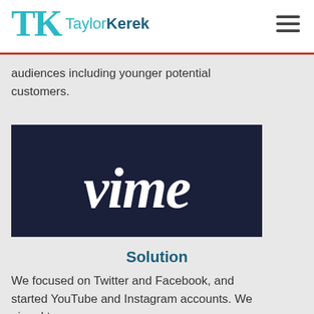TaylorKerek
audiences including younger potential customers.
[Figure (logo): Vimeo logo — white cursive 'vime' text on dark navy background]
Solution
We focused on Twitter and Facebook, and started YouTube and Instagram accounts. We aimed to: